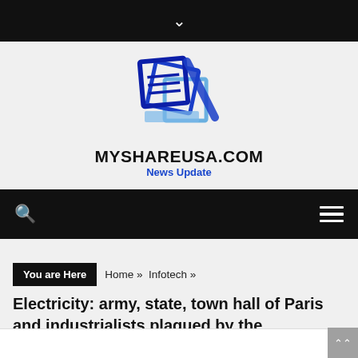[Figure (logo): MyShareUSA.com logo — blue geometric overlapping squares/diamond shape with the text MYSHAREUSA.COM in bold black and 'News Update' in blue beneath]
You are Here  Home » Infotech »
Electricity: army, state, town hall of Paris and industrialists plagued by the bankruptcy of Hydroption